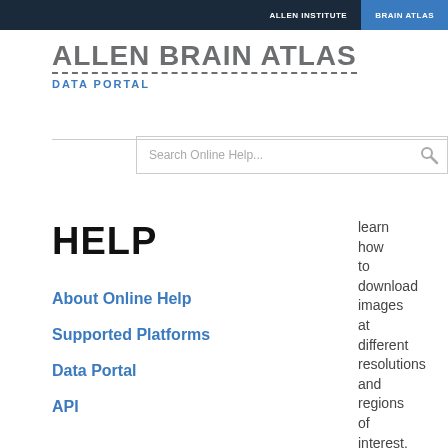ALLEN INSTITUTE  BRAIN ATLAS
ALLEN BRAIN ATLAS
DATA PORTAL
Search Online Help...
HELP
About Online Help
Supported Platforms
Data Portal
API
learn how to download images at different resolutions and regions of interest.
Examples